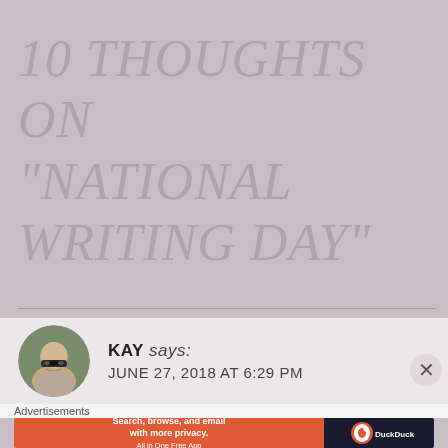10 THOUGHTS ON "NATIONAL WRITING DAY"
KAY says: JUNE 27, 2018 AT 6:29 PM
Advertisements
[Figure (infographic): DuckDuckGo advertisement banner: Search, browse, and email with more privacy. All in One Free App.]